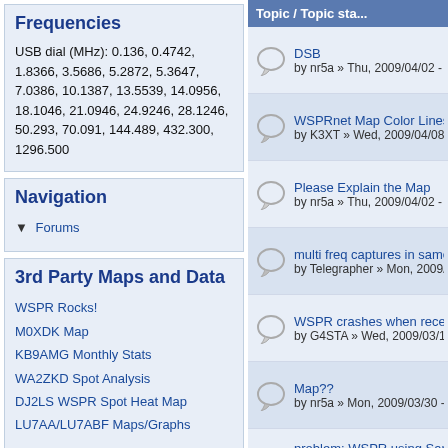Frequencies
USB dial (MHz): 0.136, 0.4742, 1.8366, 3.5686, 5.2872, 5.3647, 7.0386, 10.1387, 13.5539, 14.0956, 18.1046, 21.0946, 24.9246, 28.1246, 50.293, 70.091, 144.489, 432.300, 1296.500
Navigation
Forums
3rd Party Maps and Data
WSPR Rocks!
M0XDK Map
KB9AMG Monthly Stats
WA2ZKD Spot Analysis
DJ2LS WSPR Spot Heat Map
LU7AA/LU7ABF Maps/Graphs
Who's online
Topic / Topic sta...
DSB
by nr5a » Thu, 2009/04/02 - ...
WSPRnet Map Color Lines?
by K3XT » Wed, 2009/04/08
Please Explain the Map
by nr5a » Thu, 2009/04/02 - ...
multi freq captures in same ti...
by Telegrapher » Mon, 2009/...
WSPR crashes when receivin...
by G4STA » Wed, 2009/03/1...
Map??
by nr5a » Mon, 2009/03/30 - ...
problem: WSPR using Sams... netbook
by DL9SCO » Fri, 2009/03/2...